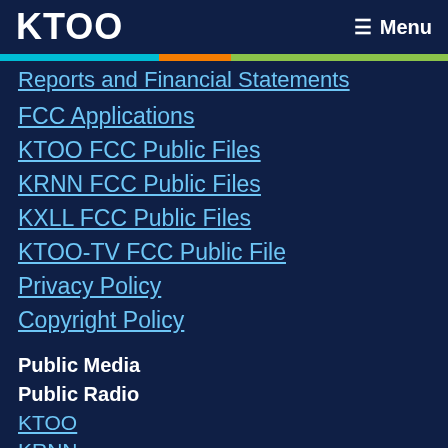KTOO   Menu
Reports and Financial Statements
FCC Applications
KTOO FCC Public Files
KRNN FCC Public Files
KXLL FCC Public Files
KTOO-TV FCC Public File
Privacy Policy
Copyright Policy
Public Media
Public Radio
KTOO
KRNN